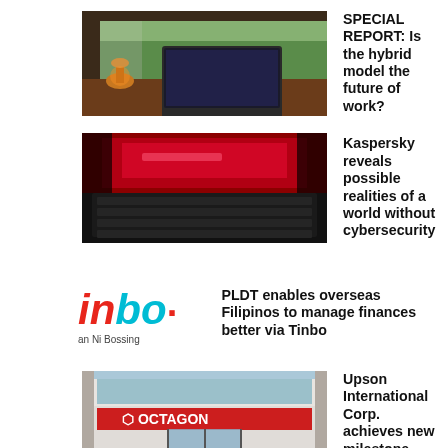[Figure (photo): Photo of a laptop and an old-style lantern on a desk near a window, warm lighting]
SPECIAL REPORT: Is the hybrid model the future of work?
[Figure (photo): Close-up photo of a laptop keyboard with dramatic red/pink lighting suggesting cybersecurity theme]
Kaspersky reveals possible realities of a world without cybersecurity
[Figure (logo): Inbo logo - red italic 'in' and cyan italic 'bo' with text 'an Ni Bossing' below]
PLDT enables overseas Filipinos to manage finances better via Tinbo
[Figure (photo): Photo of an Octagon store front with red signage]
Upson International Corp. achieves new milestone, opens 200th store in Mindoro